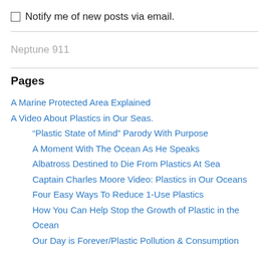Notify me of new posts via email.
Neptune 911
Pages
A Marine Protected Area Explained
A Video About Plastics in Our Seas.
“Plastic State of Mind” Parody With Purpose
A Moment With The Ocean As He Speaks
Albatross Destined to Die From Plastics At Sea
Captain Charles Moore Video: Plastics in Our Oceans
Four Easy Ways To Reduce 1-Use Plastics
How You Can Help Stop the Growth of Plastic in the Ocean
Our Day is Forever/Plastic Pollution & Consumption